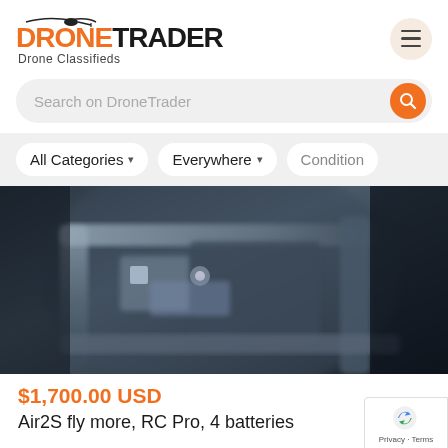[Figure (logo): DroneTrader logo with orange helicopter icon, DRONE in orange bold text, TRADER in black bold text, subtitle Drone Classifieds]
Search on DroneTrader
All Categories ▾   Everywhere ▾   Condition
[Figure (photo): Close-up blurred photograph of dark metallic drone components, arms or battery connectors, bluish-gray tones]
$1,700.00 USD
Air2S fly more, RC Pro, 4 batteries